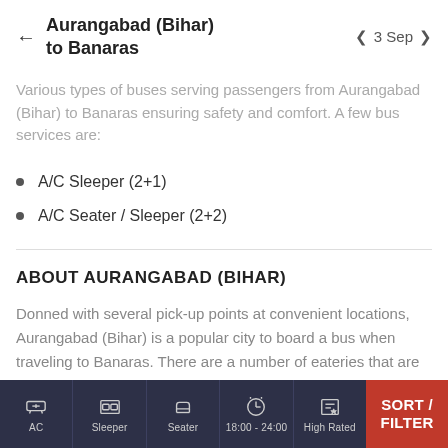Aurangabad (Bihar) to Banaras — 3 Sep
Various types of buses serving passengers from Aurangabad (Bihar) to Banaras ensuring safety and comfort. A few bus services are:
A/C Sleeper (2+1)
A/C Seater / Sleeper (2+2)
ABOUT AURANGABAD (BIHAR)
Donned with several pick-up points at convenient locations, Aurangabad (Bihar) is a popular city to board a bus when traveling to Banaras. There are a number of eateries that are located close to the pick-up points in
AC   Sleeper   Seater   18:00 - 24:00   High Rated   SORT / FILTER